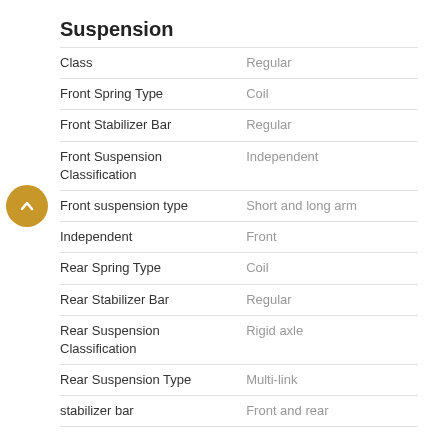Suspension
| Property | Value |
| --- | --- |
| Class | Regular |
| Front Spring Type | Coil |
| Front Stabilizer Bar | Regular |
| Front Suspension Classification | Independent |
| Front suspension type | Short and long arm |
| Independent | Front |
| Rear Spring Type | Coil |
| Rear Stabilizer Bar | Regular |
| Rear Suspension Classification | Rigid axle |
| Rear Suspension Type | Multi-link |
| stabilizer bar | Front and rear |
Telematics
| Property | Value |
| --- | --- |
| integrated navigation system | With voice activation |
| internet access | Mobile hotspot |
| smart device integration | Apple CarPlay/Android Auto |